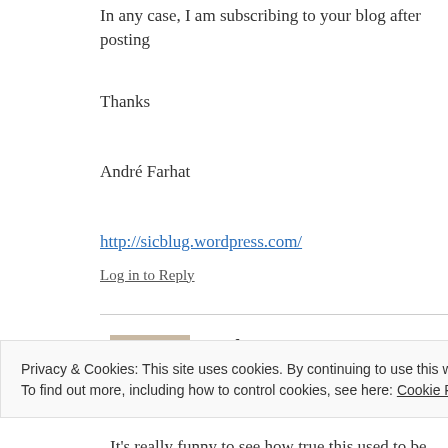In any case, I am subscribing to your blog after posting
Thanks
André Farhat
http://sicblug.wordpress.com/
Log in to Reply
malspt says:
18 October 2010 at 22:27
It's really funny to see how true this used to be for me,
Privacy & Cookies: This site uses cookies. By continuing to use this website, you agree to their use.
To find out more, including how to control cookies, see here: Cookie Policy
Close and accept